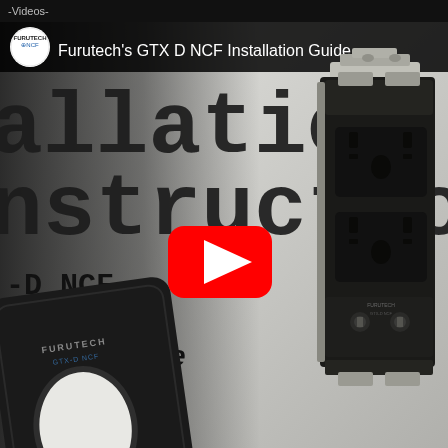-Videos-
Furutech's GTX D NCF Installation Guide
[Figure (screenshot): YouTube video thumbnail for Furutech GTX D NCF Installation Guide showing the text 'Installation Instruction' in large typewriter font, with '-D NCF', '-D NCF', 'Wall Plate' listed below, a black wall plate with FURUTECH GTX-D NCF logo and oval cutout on the left, a metal electrical outlet/receptacle on the right, and a YouTube play button in the center]